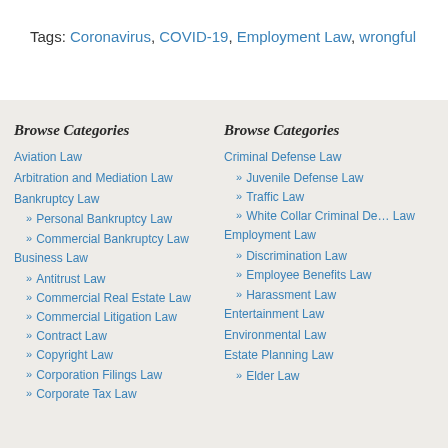Tags: Coronavirus, COVID-19, Employment Law, wrongful t…
Browse Categories
Aviation Law
Arbitration and Mediation Law
Bankruptcy Law
» Personal Bankruptcy Law
» Commercial Bankruptcy Law
Business Law
» Antitrust Law
» Commercial Real Estate Law
» Commercial Litigation Law
» Contract Law
» Copyright Law
» Corporation Filings Law
» Corporate Tax Law
Browse Categories
Criminal Defense Law
» Juvenile Defense Law
» Traffic Law
» White Collar Criminal Defense Law
Employment Law
» Discrimination Law
» Employee Benefits Law
» Harassment Law
Entertainment Law
Environmental Law
Estate Planning Law
» Elder Law